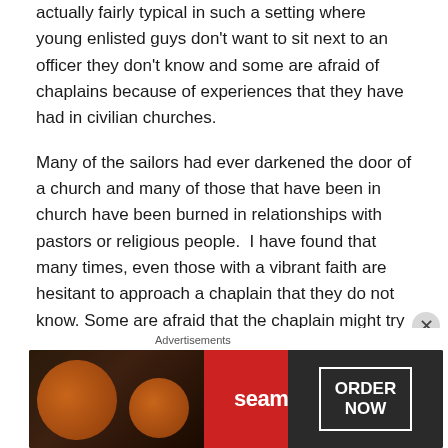actually fairly typical in such a setting where young enlisted guys don't want to sit next to an officer they don't know and some are afraid of chaplains because of experiences that they have had in civilian churches.
Many of the sailors had ever darkened the door of a church and many of those that have been in church have been burned in relationships with pastors or religious people.  I have found that many times, even those with a vibrant faith are hesitant to approach a chaplain that they do not know. Some are afraid that the chaplain might try to convert them be judgmental about of the manner in which they live their lives. So as a chaplain I try to be cognizant of this and be friendly and caring without scaring them
[Figure (other): Seamless food delivery advertisement banner showing pizza image on left, red Seamless logo in center, and ORDER NOW button on right with dark background]